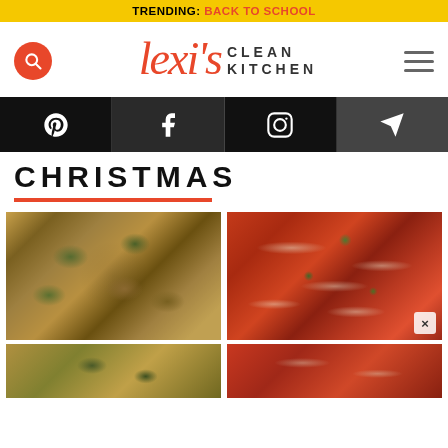TRENDING: BACK TO SCHOOL
[Figure (logo): Lexi's Clean Kitchen logo with search icon and hamburger menu]
[Figure (infographic): Social media bar with Pinterest, Facebook, Instagram, and email icons]
CHRISTMAS
[Figure (photo): Two food photos side by side: roasted Brussels sprouts in a bowl (left) and penne pasta in red sauce (right), with partial second row of food photos below]